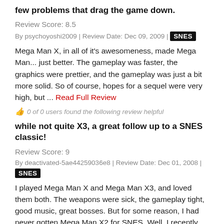few problems that drag the game down.
Review Score: 8.5
By psychoyoshi2009 | Review Date: Dec 09, 2009 | SNES
Mega Man X, in all of it's awesomeness, made Mega Man... just better. The gameplay was faster, the graphics were prettier, and the gameplay was just a bit more solid. So of course, hopes for a sequel were very high, but ... Read Full Review
0 of 0 users found the following review helpful
while not quite X3, a great follow up to a SNES classic!
Review Score: 9
By deactivated-5ae44259036e8 | Review Date: Dec 01, 2008 | SNES
I played Mega Man X and Mega Man X3, and loved them both. The weapons were sick, the gameplay tight, good music, great bosses. But for some reason, I had never gotten Mega Man X2 for SNES. Well, I recently downloaded it,... Read Full Review
0 of 0 users found the following review helpful
It's fairly epic and fun but does not quite live up to the first.
Review Score: 8